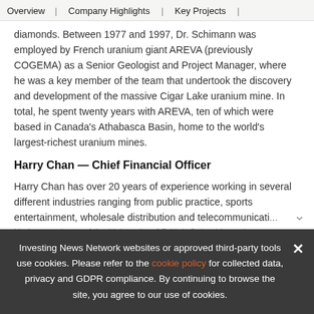Overview | Company Highlights | Key Projects |
diamonds. Between 1977 and 1997, Dr. Schimann was employed by French uranium giant AREVA (previously COGEMA) as a Senior Geologist and Project Manager, where he was a key member of the team that undertook the discovery and development of the massive Cigar Lake uranium mine. In total, he spent twenty years with AREVA, ten of which were based in Canada's Athabasca Basin, home to the world's largest-richest uranium mines.
Harry Chan — Chief Financial Officer
Harry Chan has over 20 years of experience working in several different industries ranging from public practice, sports entertainment, wholesale distribution and telecommunicati... He is a graduate of the University of British Columbia and...
Investing News Network websites or approved third-party tools use cookies. Please refer to the cookie policy for collected data, privacy and GDPR compliance. By continuing to browse the site, you agree to our use of cookies.